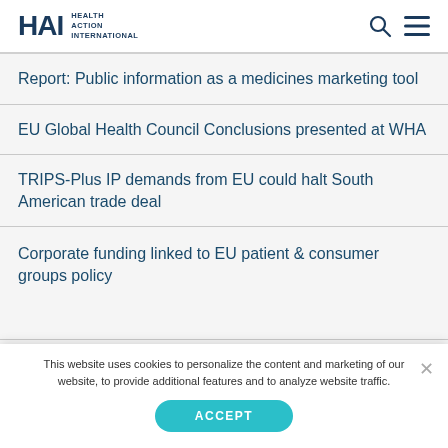HAI Health Action International
Report: Public information as a medicines marketing tool
EU Global Health Council Conclusions presented at WHA
TRIPS-Plus IP demands from EU could halt South American trade deal
Corporate funding linked to EU patient & consumer groups policy
This website uses cookies to personalize the content and marketing of our website, to provide additional features and to analyze website traffic.